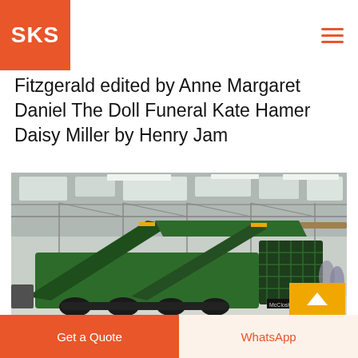SKS
Fitzgerald edited by Anne Margaret Daniel The Doll Funeral Kate Hamer Daisy Miller by Henry Jam
[Figure (photo): Large green industrial crushing/screening machine inside a warehouse/factory building with steel truss roof and skylights. A yellow back-to-top arrow button overlays the bottom right of the image.]
Get a Quote
WhatsApp